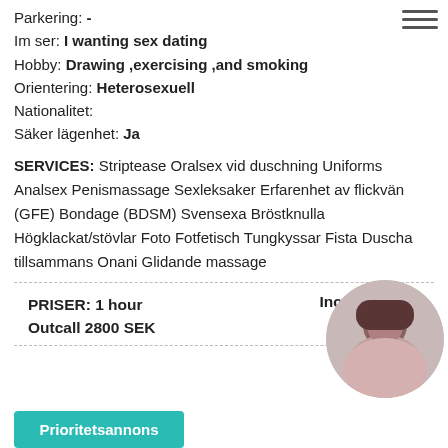Parkering: -
Im ser: I wanting sex dating
Hobby: Drawing ,exercising ,and smoking
Orientering: Heterosexuell
Nationalitet:
Säker lägenhet: Ja
SERVICES: Striptease Oralsex vid duschning Uniforms Analsex Penismassage Sexleksaker Erfarenhet av flickvän (GFE) Bondage (BDSM) Svensexa Bröstknulla Högklackat/stövlar Foto Fotfetisch Tungkyssar Fista Duscha tillsammans Onani Glidande massage
PRISER: 1 hour Incall 2200 SEK Outcall 2800 SEK
[Figure (photo): Circular profile photo of a woman with dark hair]
Prioritetsannons